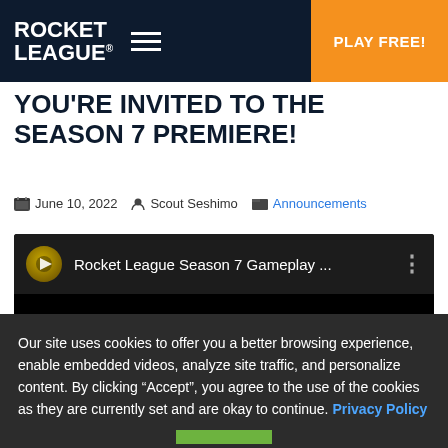ROCKET LEAGUE | PLAY FREE!
YOU'RE INVITED TO THE SEASON 7 PREMIERE!
June 10, 2022   Scout Seshimo   Announcements
[Figure (screenshot): Embedded YouTube video player showing 'Rocket League Season 7 Gameplay ...' with black video area and video thumbnail/icon]
Our site uses cookies to offer you a better browsing experience, enable embedded videos, analyze site traffic, and personalize content. By clicking “Accept”, you agree to the use of the cookies as they are currently set and are okay to continue. Privacy Policy